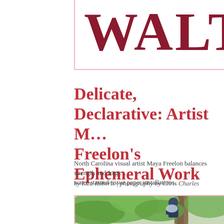WALTER
Delicate, Declarative: Artist Maya Freelon's Ephemeral Work
North Carolina visual artist Maya Freelon balances strength and fragility in her water-stained tissue paper installations.
by Liza Roberts | photography by Chris Charles
[Figure (photo): A person climbing or seated in a tree with green foliage, wearing a blue/dark outfit, photographed from below looking up.]